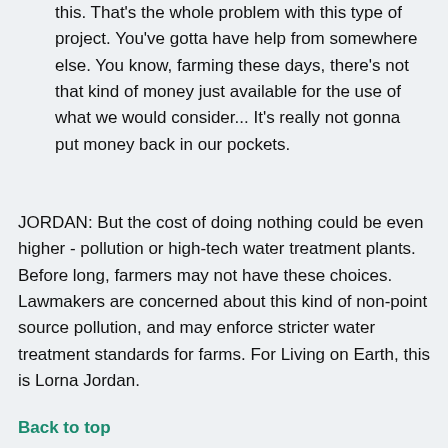this. That's the whole problem with this type of project. You've gotta have help from somewhere else. You know, farming these days, there's not that kind of money just available for the use of what we would consider... It's really not gonna put money back in our pockets.
JORDAN: But the cost of doing nothing could be even higher - pollution or high-tech water treatment plants. Before long, farmers may not have these choices. Lawmakers are concerned about this kind of non-point source pollution, and may enforce stricter water treatment standards for farms. For Living on Earth, this is Lorna Jordan.
Back to top